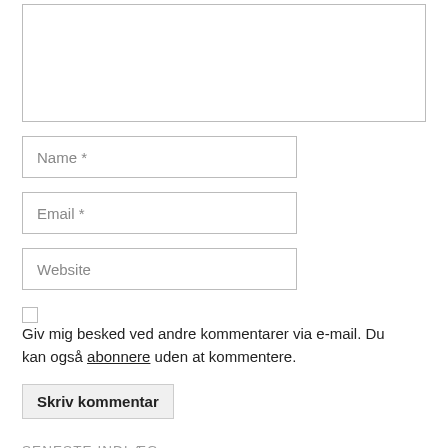[Figure (screenshot): A comment form with a large textarea at the top, followed by Name, Email, and Website input fields, a checkbox with notification text, a submit button, and a section header at the bottom.]
Name *
Email *
Website
Giv mig besked ved andre kommentarer via e-mail. Du kan også abonnere uden at kommentere.
Skriv kommentar
SENESTE INDLÆG